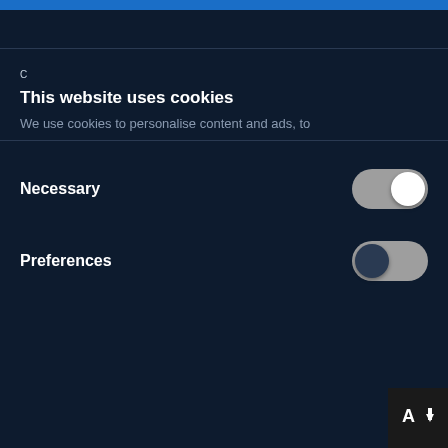This website uses cookies
We use cookies to personalise content and ads, to
Necessary
Preferences
Allow all
Deny